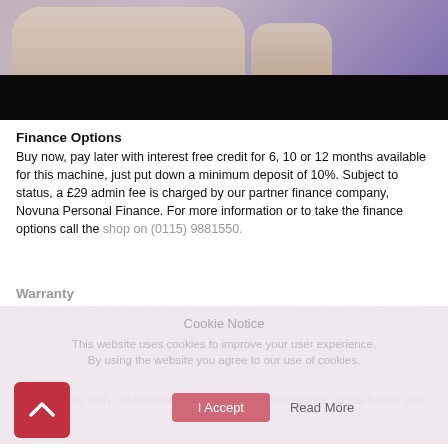[Figure (photo): Partial photo of two people sitting, with a black bar below (video player area)]
Finance Options
Buy now, pay later with interest free credit for 6, 10 or 12 months available for this machine, just put down a minimum deposit of 10%. Subject to status, a £29 admin fee is charged by our partner finance company, Novuna Personal Finance. For more information or to take the finance options call the shop on (0115) 9881550.
Warranty
A no quibble 5 year warranty to include parts, electronic parts and labour (this is in addition to your statutory rights).
Free Tuition
You can buy with confidence from Coles as we offer free online tuition with this model.
Cookie Notice
This website uses cookies to improve your user experience. By using the website you agree to our use of cookies.